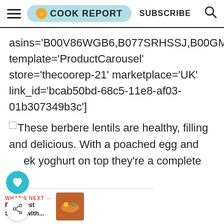COOK REPORT | SUBSCRIBE
asins='B00V86WGB6,B077SRHSSJ,B00GMMA template='ProductCarousel' store='thecoorep-21' marketplace='UK' link_id='bcab50bd-68c5-11e8-af03-01b307349b3c']
These berbere lentils are healthy, filling and delicious. With a poached egg and ek yoghurt on top they're a complete
WHAT'S NEXT → Breakfast Skillet with...